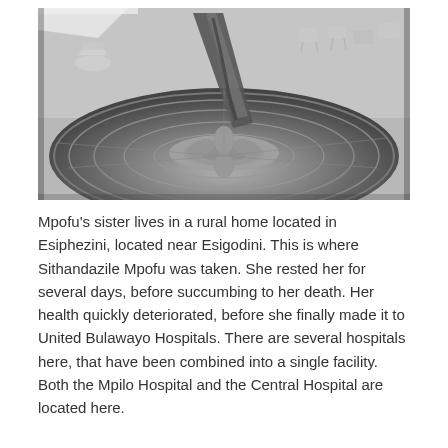[Figure (photo): Black and white close-up photograph of an ornate sundial with decorative carved surface. A metal gnomon stands in the center. In the blurred background, outdoor furniture (chairs and tables) can be seen on a lawn.]
Mpofu's sister lives in a rural home located in Esiphezini, located near Esigodini. This is where Sithandazile Mpofu was taken. She rested her for several days, before succumbing to her death. Her health quickly deteriorated, before she finally made it to United Bulawayo Hospitals. There are several hospitals here, that have been combined into a single facility. Both the Mpilo Hospital and the Central Hospital are located here.